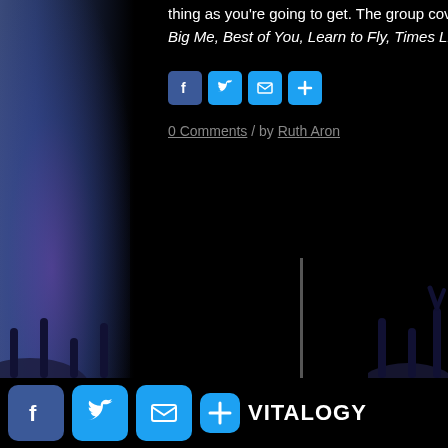thing as you're going to get. The group covers all the classic including Everlong, Monkey Wrench, Big Me, Best of You, Learn to Fly, Times Like These, My Hero, Walk and many more…
[Figure (infographic): Social share buttons: Facebook, Twitter, Email, Plus]
0 Comments / by Ruth Aron
[Figure (logo): Vitalogy logo with X stick figure and yellow italic text reading Vitalogy]
[Figure (infographic): Bottom bar social share buttons: Facebook, Twitter, Email, Plus with VITALOGY text]